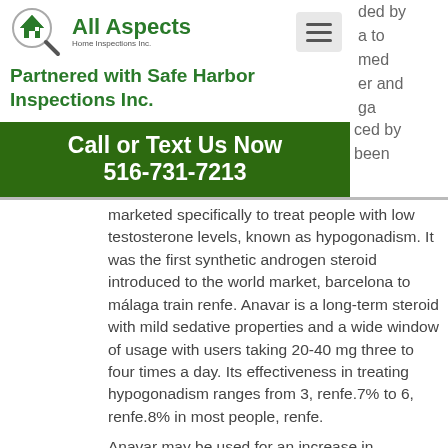All Aspects Home Inspections Inc. | Partnered with Safe Harbor Inspections Inc.
[Figure (logo): All Aspects Home Inspections Inc. logo with magnifying glass icon]
Partnered with Safe Harbor Inspections Inc.
Call or Text Us Now 516-731-7213
marketed specifically to treat people with low testosterone levels, known as hypogonadism. It was the first synthetic androgen steroid introduced to the world market, barcelona to málaga train renfe. Anavar is a long-term steroid with mild sedative properties and a wide window of usage with users taking 20-40 mg three to four times a day. Its effectiveness in treating hypogonadism ranges from 3, renfe.7% to 6, renfe.8% in most people, renfe.
Anavar may be used for an increase in